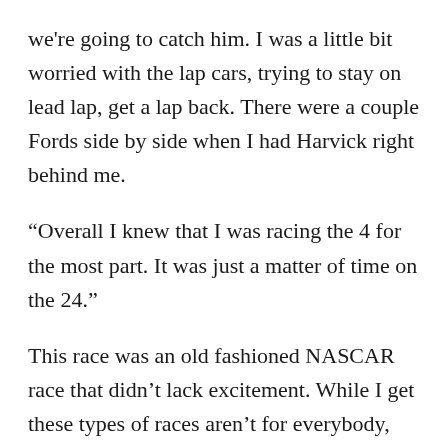we're going to catch him. I was a little bit worried with the lap cars, trying to stay on lead lap, get a lap back. There were a couple Fords side by side when I had Harvick right behind me.
“Overall I knew that I was racing the 4 for the most part. It was just a matter of time on the 24.”
This race was an old fashioned NASCAR race that didn’t lack excitement. While I get these types of races aren’t for everybody, this is what makes racing fun.
Cautions were limited and teams tried out